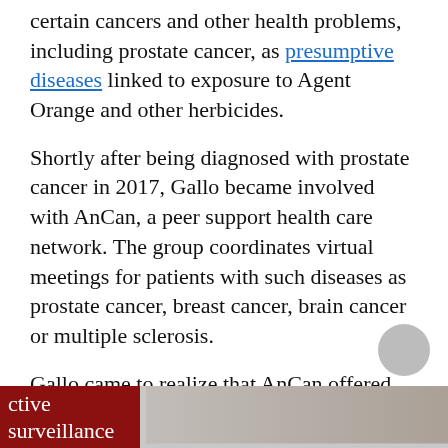certain cancers and other health problems, including prostate cancer, as presumptive diseases linked to exposure to Agent Orange and other herbicides.
Shortly after being diagnosed with prostate cancer in 2017, Gallo became involved with AnCan, a peer support health care network. The group coordinates virtual meetings for patients with such diseases as prostate cancer, breast cancer, brain cancer or multiple sclerosis.
Gallo came to realize that AnCan offered no breakout support group for prostate cancer patients like himself on active surveillance.
[Figure (photo): Partial view of two images at the bottom of the page: a red-toned image on the left with partial white text reading 'ctive surveillance', and a photo of a person on the right (partially visible, gray circle overlay in middle-right area).]